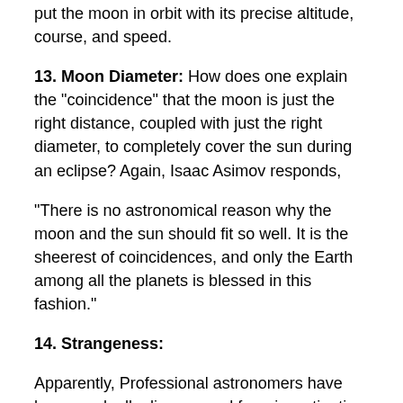put the moon in orbit with its precise altitude, course, and speed.
13. Moon Diameter: How does one explain the “coincidence” that the moon is just the right distance, coupled with just the right diameter, to completely cover the sun during an eclipse? Again, Isaac Asimov responds,
“There is no astronomical reason why the moon and the sun should fit so well. It is the sheerest of coincidences, and only the Earth among all the planets is blessed in this fashion.”
14. Strangeness:
Apparently, Professional astronomers have been gradually discouraged from investigating a phenomenon that has been reported on the Moon for 1,000 years. It is short